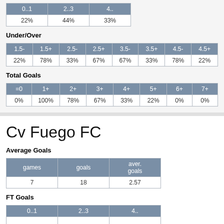| 0..1 | 2..3 | 4.. |
| --- | --- | --- |
| 22% | 44% | 33% |
Under/Over
| 1.5- | 1.5+ | 2.5- | 2.5+ | 3.5- | 3.5+ | 4.5- | 4.5+ |
| --- | --- | --- | --- | --- | --- | --- | --- |
| 22% | 78% | 33% | 67% | 67% | 33% | 78% | 22% |
Total Goals
| =0 | 1+ | 2+ | 3+ | 4+ | 5+ | 6+ | 7+ |
| --- | --- | --- | --- | --- | --- | --- | --- |
| 0% | 100% | 78% | 67% | 33% | 22% | 0% | 0% |
Cv Fuego FC
Average Goals
| games | goals | aver. goals |
| --- | --- | --- |
| 7 | 18 | 2.57 |
FT Goals
| 0..1 | 2..3 | 4.. |
| --- | --- | --- |